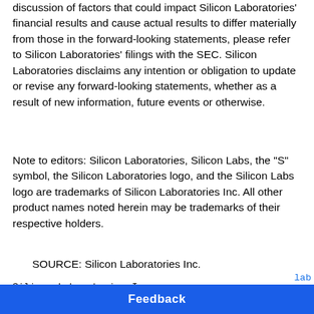discussion of factors that could impact Silicon Laboratories' financial results and cause actual results to differ materially from those in the forward-looking statements, please refer to Silicon Laboratories' filings with the SEC. Silicon Laboratories disclaims any intention or obligation to update or revise any forward-looking statements, whether as a result of new information, future events or otherwise.
Note to editors: Silicon Laboratories, Silicon Labs, the "S" symbol, the Silicon Laboratories logo, and the Silicon Labs logo are trademarks of Silicon Laboratories Inc. All other product names noted herein may be trademarks of their respective holders.
SOURCE: Silicon Laboratories Inc.
Silicon Laboratories Inc.
Dale Weisman  +1-512-532-5871
dal...
Fol...